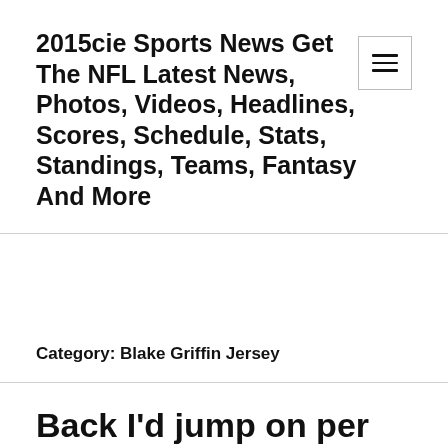2015cie Sports News Get The NFL Latest News, Photos, Videos, Headlines, Scores, Schedule, Stats, Standings, Teams, Fantasy And More
Category: Blake Griffin Jersey
Back I'd jump on per sure yards win